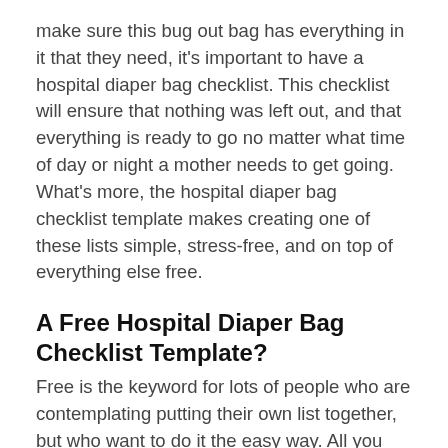make sure this bug out bag has everything in it that they need, it's important to have a hospital diaper bag checklist. This checklist will ensure that nothing was left out, and that everything is ready to go no matter what time of day or night a mother needs to get going. What's more, the hospital diaper bag checklist template makes creating one of these lists simple, stress-free, and on top of everything else free.
A Free Hospital Diaper Bag Checklist Template?
Free is the keyword for lots of people who are contemplating putting their own list together, but who want to do it the easy way. All you have to do is simply click the link, download the template, open it up and start filling in the blanks. It's that simple. As long as you have Microsoft Office you can take this file and create your own checklist so that you don't leave anything behind